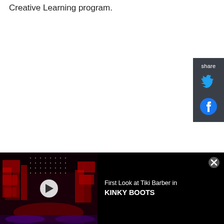Creative Learning program.
[Figure (screenshot): Share panel on the right side with Twitter and Facebook icons on dark background]
First Look at Tiki Barber in KINKY BOOTS
[Figure (screenshot): Video thumbnail showing a theater stage with red lighting and set pieces for Kinky Boots, with a play button overlay]